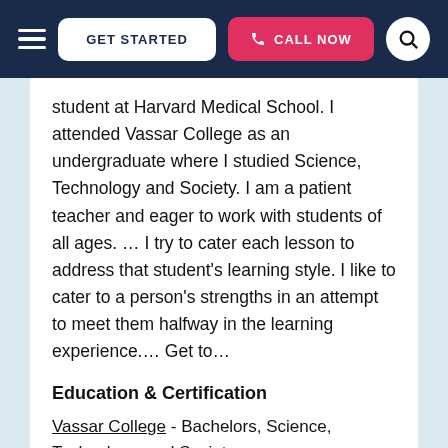GET STARTED | CALL NOW
student at Harvard Medical School. I attended Vassar College as an undergraduate where I studied Science, Technology and Society. I am a patient teacher and eager to work with students of all ages. … I try to cater each lesson to address that student's learning style. I like to cater to a person's strengths in an attempt to meet them halfway in the learning experience.… Get to…
Education & Certification
Vassar College - Bachelors, Science, Technology, and Society
Harvard Medical School - Current Grad Student, MD